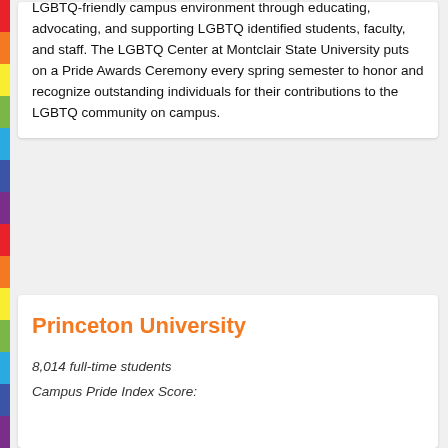Montclair State University was founded in 1908 as the New Jersey State Normal School at Montclair. The LGBTQ Center at Montclair State University was created to offer a safer, more LGBTQ-friendly campus environment through educating, advocating, and supporting LGBTQ identified students, faculty, and staff. The LGBTQ Center at Montclair State University puts on a Pride Awards Ceremony every spring semester to honor and recognize outstanding individuals for their contributions to the LGBTQ community on campus.
Princeton University
8,014 full-time students
Campus Pride Index Score: